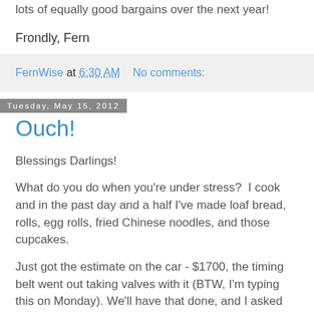lots of equally good bargains over the next year!
Frondly, Fern
FernWise at 6:30 AM    No comments:
Tuesday, May 15, 2012
Ouch!
Blessings Darlings!
What do you do when you're under stress?  I cook and in the past day and a half I've made loaf bread, rolls, egg rolls, fried Chinese noodles, and those cupcakes.
Just got the estimate on the car - $1700, the timing belt went out taking valves with it (BTW, I'm typing this on Monday).  We'll have that done, and I asked for an estimate on fixing the AC and the fan.  This would zero our emergency fund (the fund having already been hit by the Chubby Hubby's abscess and tooth removal), so it's going on one of the credit